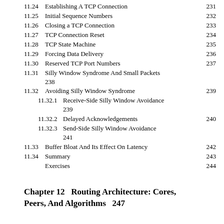11.24 Establishing A TCP Connection    231
11.25 Initial Sequence Numbers    232
11.26 Closing a TCP Connection    233
11.27 TCP Connection Reset    234
11.28 TCP State Machine    235
11.29 Forcing Data Delivery    236
11.30 Reserved TCP Port Numbers    237
11.31 Silly Window Syndrome And Small Packets 238
11.32 Avoiding Silly Window Syndrome    239
11.32.1 Receive-Side Silly Window Avoidance 239
11.32.2 Delayed Acknowledgements    240
11.32.3 Send-Side Silly Window Avoidance 241
11.33 Buffer Bloat And Its Effect On Latency    242
11.34 Summary    243
Exercises    244
Chapter 12    Routing Architecture: Cores, Peers, And Algorithms    247